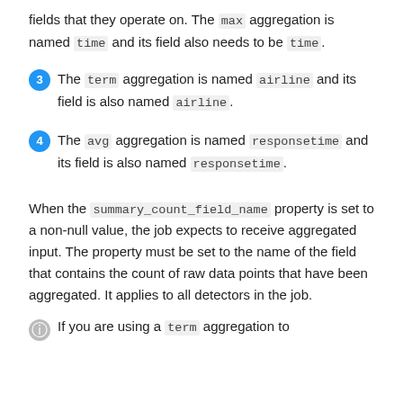fields that they operate on. The max aggregation is named time and its field also needs to be time.
3 The term aggregation is named airline and its field is also named airline.
4 The avg aggregation is named responsetime and its field is also named responsetime.
When the summary_count_field_name property is set to a non-null value, the job expects to receive aggregated input. The property must be set to the name of the field that contains the count of raw data points that have been aggregated. It applies to all detectors in the job.
If you are using a term aggregation to